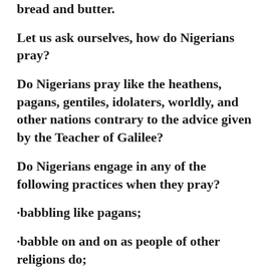bread and butter.
Let us ask ourselves, how do Nigerians pray?
Do Nigerians pray like the heathens, pagans, gentiles, idolaters, worldly, and other nations contrary to the advice given by the Teacher of Galilee?
Do Nigerians engage in any of the following practices when they pray?
·babbling like pagans;
·babble on and on as people of other religions do;
·heap up empty phrases as the Gentiles do;